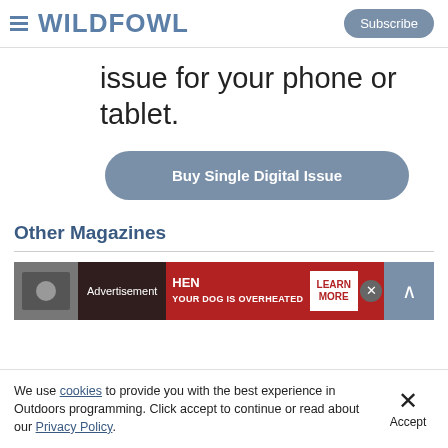WILDFOWL | Subscribe
issue for your phone or tablet.
Buy Single Digital Issue
Other Magazines
[Figure (screenshot): Advertisement banner with photo, 'Advertisement' label, red background with dog health text, LEARN MORE button, and close X button]
We use cookies to provide you with the best experience in Outdoors programming. Click accept to continue or read about our Privacy Policy.